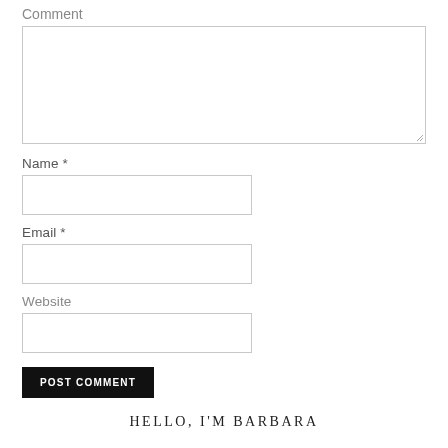Comment
Name *
Email *
Website
POST COMMENT
HELLO, I'M BARBARA